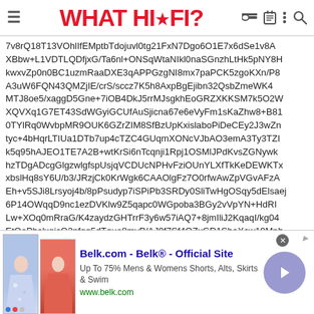WHAT HI·FI?
7v8rQ18T13VOhlIfEMptbTdojuvl0tg21FxN7Dgo6O1E7x6dSe1v8AXBbw+L1VDTLQDfjxG/Ta6nl+ONSqWtaNIkl0naSGnzhLtHk5pNY8HkwxvZp0n0BC1uzmRaaDXE3qAPPGzgNI8mx7paPCK5zgoKXn/P8A3uW6FQN43QMZjIE/crS/sccz7K5h8AxpBgEjibn32QsbZmeWK4MTJ8oe5/xaggD5Gne+7iOB4DkJ5rrMJsgkhEoGRZXKKSM7k5O2WXQVXq1G7ET43SdWGyiGCUfAuSjicna67e6eVyFm1sKaZhw8+B810TYlRq0WvbpMR9OUK6GZrZIM8SfBzUpKxislaboPiDeCEy2J3wZntyc+4bHqrLTIUa1DTb7up4cTZC4GUqmXONcVJbAO3emA3Ty3TZIk5q95hAJEO1TE7A2B+wtKrSi6nTcqnji1Rpj1OSMlJPdKvsZGNywkhzTDgADcgGlgzwlgfspUsjqVCDUcNPHvFziOUnYLXfTkKeDEWKTxxbslHq8sY6U/b3/JRzjCk0KrWgk6CAAOlgFz7O0rfwAwZpVGvAFzAEh+v5SJi8Lrsyoj4b/8pPsudyp7iSPiPb3SRDy0SliTwHgOSqy5dElsaej6P14OWqqD9nc1ezDVKlw9Z5qapc0WGpoba3BGy2vVpYN+HdRILw+XOq0mRraG/K4zaydzGHTrrF3y6w57iAQ7+8jmIliJ2KqaqI/kg04EtOoPhslxgjcO2nfgq5dTquo8myP/AJ0f7Sf4OZxGR1SbaXcw19Mnb
[Figure (screenshot): Advertisement for Belk.com showing clothing items (floral skirt and red skirt) with text: Belk.com - Belk® - Official Site, Up To 75% Mens & Womens Shorts, Alts, Skirts & Swim, www.belk.com]